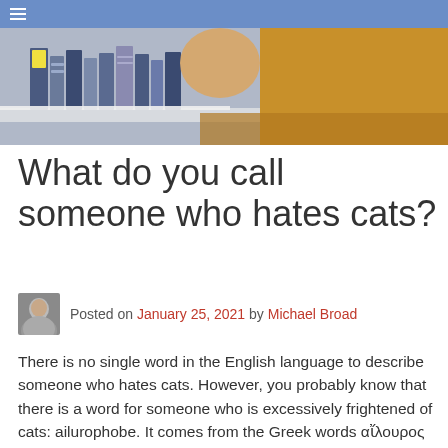≡
[Figure (photo): Close-up photo of books on a shelf with a warm orange/wood background and a yellow sticky note visible, slightly blurred]
What do you call someone who hates cats?
Posted on January 25, 2021 by Michael Broad
There is no single word in the English language to describe someone who hates cats. However, you probably know that there is a word for someone who is excessively frightened of cats: ailurophobe. It comes from the Greek words αἴλουρος … continue reading…